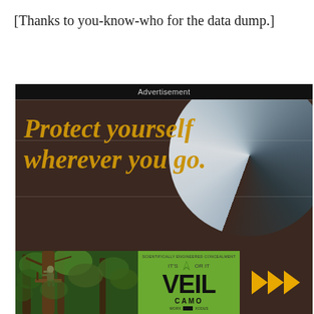[Thanks to you-know-who for the data dump.]
[Figure (illustration): Advertisement banner showing 'Protect yourself wherever you go.' in gold italic text on a dark brown background with a blurred circular lens element in the top right. Bottom section shows a hunter in a tree stand in a forest, a VEIL CAMO logo on green background, and yellow play/forward arrows on dark background. Top black bar reads 'Advertisement'.]